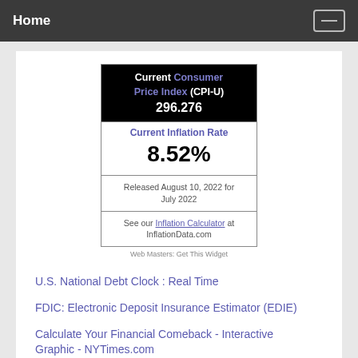Home
[Figure (infographic): CPI widget showing Current Consumer Price Index (CPI-U) 296.276, Current Inflation Rate 8.52%, Released August 10, 2022 for July 2022, with link to Inflation Calculator at InflationData.com]
Web Masters: Get This Widget
U.S. National Debt Clock : Real Time
FDIC: Electronic Deposit Insurance Estimator (EDIE)
Calculate Your Financial Comeback - Interactive Graphic - NYTimes.com